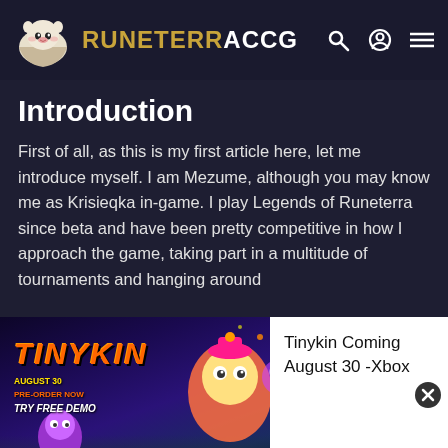RUNETERRACCG
Introduction
First of all, as this is my first article here, let me introduce myself. I am Mezume, although you may know me as Krisieqka in-game. I play Legends of Runeterra since beta and have been pretty competitive in how I approach the game, taking part in a multitude of tournaments and hanging around
[Figure (screenshot): Tinykin game advertisement banner showing colorful game art with text: TINYKIN, AUGUST 30, PRE-ORDER NOW, TRY FREE DEMO, with Xbox logos at bottom]
Tinykin Coming August 30 -Xbox
usual ladder experience. This is especially important as we have been stuck for a while without big balance changes, terrorized by the likes of Ezreal Draven, TF